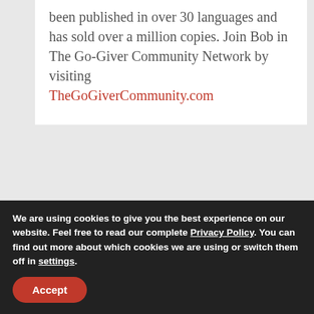been published in over 30 languages and has sold over a million copies. Join Bob in The Go-Giver Community Network by visiting TheGoGiverCommunity.com
PREVIOUS
Missing The Communication Target?
We are using cookies to give you the best experience on our website. Feel free to read our complete Privacy Policy. You can find out more about which cookies we are using or switch them off in settings.
Accept